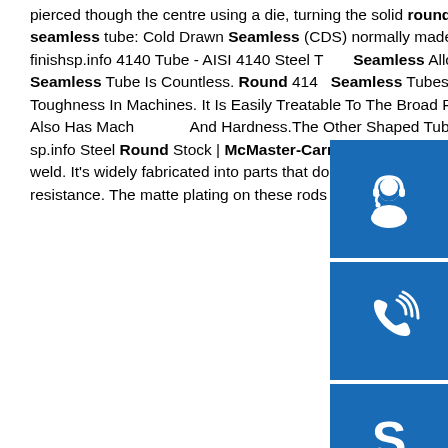pierced though the centre using a die, turning the solid round into a round tube. Basically there are two types of seamless tube: Cold Drawn Seamless (CDS) normally made from SAE 1018, having precise tolerances and surface finishsp.info 4140 Tube - AISI 4140 Steel Tube Seamless Alloy Steel ...The Benefits Of Different Shapes Of 4140 Seamless Tube Is Countless. Round 4140 Seamless Tubes Have Mechanical Tubing, High Tensile Strength And Toughness In Machines. It Is Easily Treatable To The Broad Range Of The Resistance Strength. 4140 Mechanical Tubing Also Has Machinability And Hardness.The Other Shaped Tube Also Have Properties And Excellent Strength To Fulfil …sp.info Steel Round Stock | McMaster-CarrAlso known as mild steel, low-carbon steel is easy to machine, form, and weld. It's widely fabricated into parts that don't require high strength. These rods are zinc galvanized for good corrosion resistance. The matte plating on these rods increases corrosion resistance and wear resistance. These
[Figure (infographic): Three blue icon boxes stacked vertically on the right side: a headset/customer service icon, a phone/call icon, and a Skype icon.]